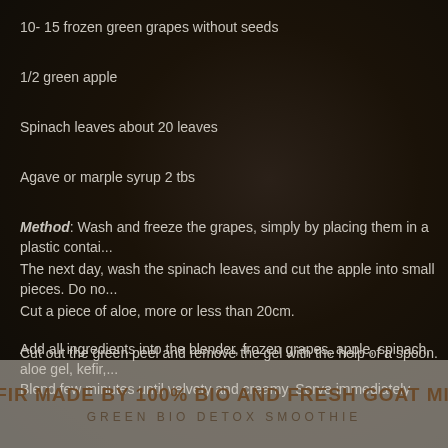10- 15 frozen green grapes without seeds
1/2 green apple
Spinach leaves about 20 leaves
Agave or marple syrup 2 tbs
Method: Wash and freeze the grapes, simply by placing them in a plastic contair...
The next day, wash the spinach leaves and cut the apple into small pieces. Do no...
Cut a piece of aloe, more or less than 20cm.
Cut out the green peel and remove the gel with the help of a spoon.
Add all ingredients into the blender, frozen grapes, apple, spinach, aloe gel, kefir,...
Blend few minutes until velvety and creamy. Serve immediately
KEFIR MADE BY 100% BIO AND FRESH GOAT MIL...
GREEN BIO DETOX SMOOTHIE